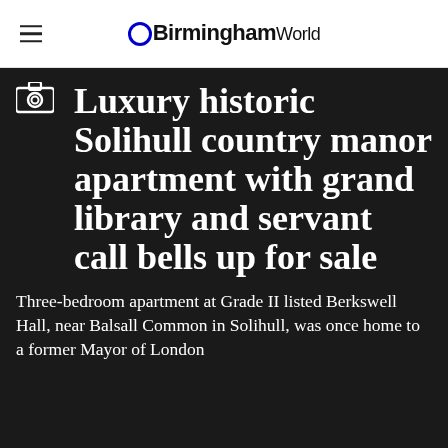BirminghamWorld
Luxury historic Solihull country manor apartment with grand library and servant call bells up for sale
Three-bedroom apartment at Grade II listed Berkswell Hall, near Balsall Common in Solihull, was once home to a former Mayor of London